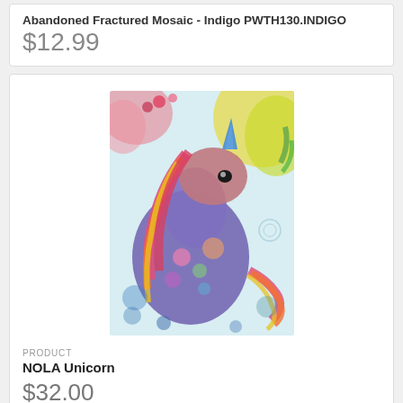Abandoned Fractured Mosaic - Indigo PWTH130.INDIGO
$12.99
[Figure (photo): Colorful mosaic-style illustration of a unicorn with floral and patterned elements, multi-colored mane and horn against a light patterned background]
PRODUCT
NOLA Unicorn
$32.00